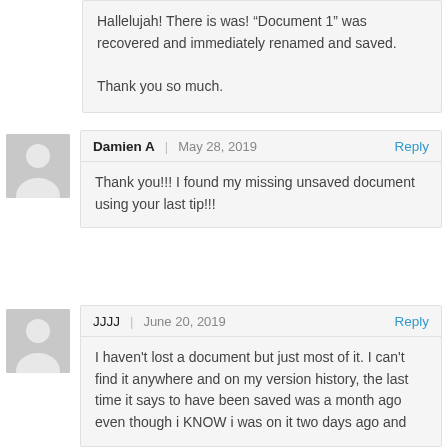Hallelujah! There is was! "Document 1" was recovered and immediately renamed and saved.
Thank you so much.
Damien A | May 28, 2019 Reply
Thank you!!! I found my missing unsaved document using your last tip!!!
JJJJ | June 20, 2019 Reply
I haven't lost a document but just most of it. I can't find it anywhere and on my version history, the last time it says to have been saved was a month ago even though i KNOW i was on it two days ago and